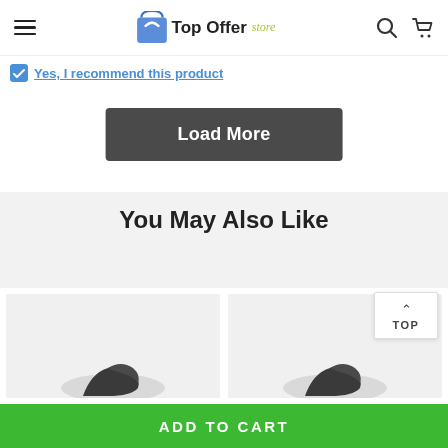Top Offer store
Yes, I recommend this product
Load More
You May Also Like
[Figure (photo): Two product cards showing yoga mats (rolled, dark gray) on light gray background]
TOP
ADD TO CART